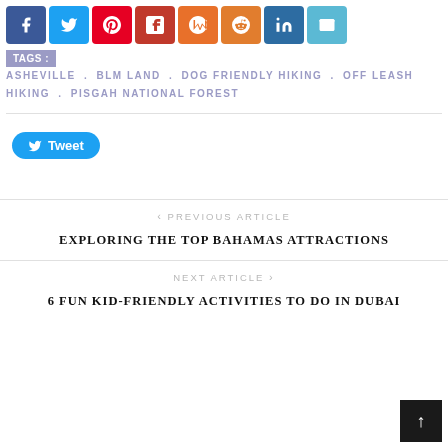[Figure (other): Row of social share buttons: Facebook (blue), Twitter (light blue), Pinterest (red), Flipboard (dark red), Pocket (orange), Reddit (orange-brown), LinkedIn (dark blue), Email (light blue)]
TAGS : ASHEVILLE . BLM LAND . DOG FRIENDLY HIKING . OFF LEASH HIKING . PISGAH NATIONAL FOREST
[Figure (other): Twitter Tweet button with bird icon]
< PREVIOUS ARTICLE
EXPLORING THE TOP BAHAMAS ATTRACTIONS
NEXT ARTICLE >
6 FUN KID-FRIENDLY ACTIVITIES TO DO IN DUBAI